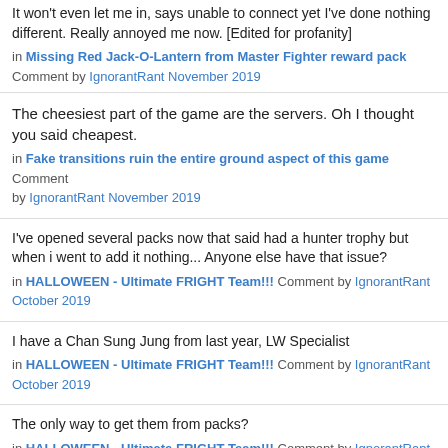It won't even let me in, says unable to connect yet I've done nothing different. Really annoyed me now. [Edited for profanity]
It won't even let me in, says unable to connect yet I've done nothing different. Really annoyed me now. [Edited for profanity]
in Missing Red Jack-O-Lantern from Master Fighter reward pack Comment by IgnorantRant November 2019
The cheesiest part of the game are the servers. Oh I thought you said cheapest.
in Fake transitions ruin the entire ground aspect of this game Comment by IgnorantRant November 2019
I've opened several packs now that said had a hunter trophy but when i went to add it nothing... Anyone else have that issue?
in HALLOWEEN - Ultimate FRIGHT Team!!! Comment by IgnorantRant October 2019
I have a Chan Sung Jung from last year, LW Specialist
in HALLOWEEN - Ultimate FRIGHT Team!!! Comment by IgnorantRant October 2019
The only way to get them from packs?
in HALLOWEEN - Ultimate FRIGHT Team!!! Comment by IgnorantRant October 2019
So I got both Khabib and Ortega sets in HM. Only had to use 2 wild cards. :)
Sign In    Register